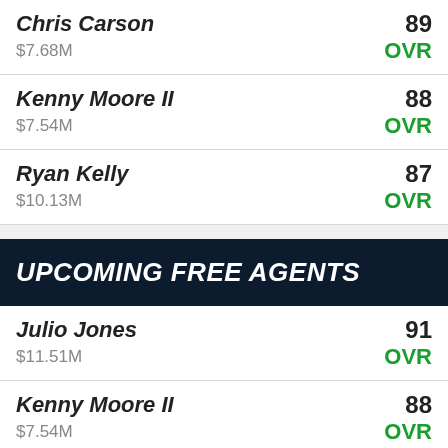Chris Carson — 89
$7.68M — OVR
Kenny Moore II — 88
$7.54M — OVR
Ryan Kelly — 87
$10.13M — OVR
UPCOMING FREE AGENTS
Julio Jones — 91
$11.51M — OVR
Kenny Moore II — 88
$7.54M — OVR